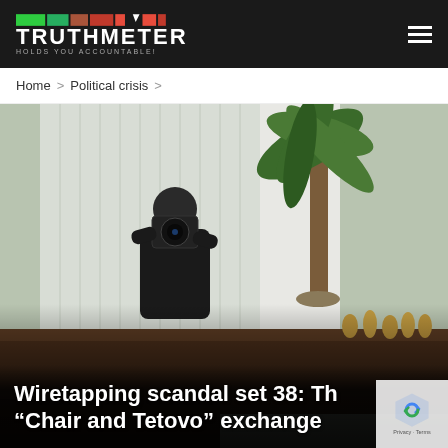TRUTHMETER HOLDS YOU ACCOUNTABLE!
Home > Political crisis >
[Figure (photo): A person photographing themselves in a mirror in what appears to be a government office, with vertical blinds, a large potted palm tree, and decorative figurines on a dark wooden sideboard in the background.]
Wiretapping scandal set 38: The "Chair and Tetovo" exchange